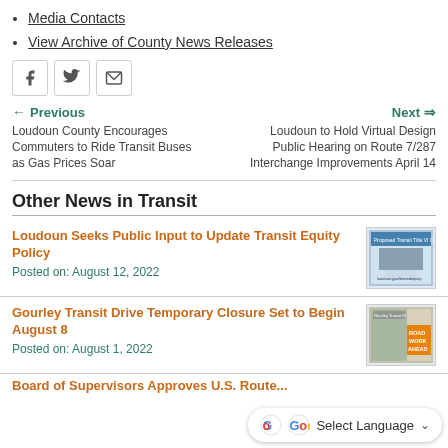Media Contacts
View Archive of County News Releases
[Figure (other): Social sharing icons: Facebook, Twitter, Email]
← Previous
Loudoun County Encourages Commuters to Ride Transit Buses as Gas Prices Soar
Next →
Loudoun to Hold Virtual Design Public Hearing on Route 7/287 Interchange Improvements April 14
Other News in Transit
Loudoun Seeks Public Input to Update Transit Equity Policy
Posted on: August 12, 2022
[Figure (photo): Thumbnail image for Loudoun Transit Equity Policy article showing bus and signage]
Gourley Transit Drive Temporary Closure Set to Begin August 8
Posted on: August 1, 2022
[Figure (photo): Thumbnail image for Gourley Transit Drive closure article showing road work ahead sign]
Board of Supervisors Approves U.S. Route...
[Figure (other): Google Translate widget with G logo and Select Language dropdown]